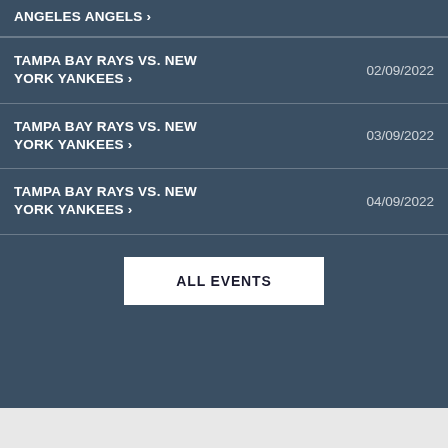ANGELES ANGELS >
TAMPA BAY RAYS VS. NEW YORK YANKEES > 02/09/2022
TAMPA BAY RAYS VS. NEW YORK YANKEES > 03/09/2022
TAMPA BAY RAYS VS. NEW YORK YANKEES > 04/09/2022
ALL EVENTS